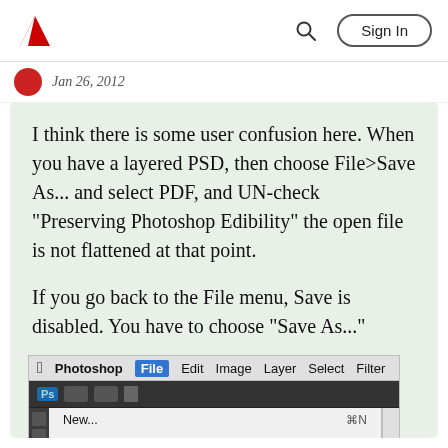Adobe — Sign In
Jan 26, 2012
I think there is some user confusion here. When you have a layered PSD, then choose File>Save As... and select PDF, and UN-check "Preserving Photoshop Edibility" the open file is not flattened at that point.

If you go back to the File menu, Save is disabled. You have to choose "Save As..."
[Figure (screenshot): Screenshot of Adobe Photoshop on Mac OS X showing the File menu open with options: New... (⌘N), Open... (⌘O), Browse in Bridge... (⌥⌘O), Browse in Mini Bridge..., Open As Smart Object..., Open Recent (with submenu arrow), Share My Screen..., Create New Review..., Device Central..., and more items cut off. The Photoshop application toolbar is visible at the top and a pink/purple image is visible in the canvas area below.]